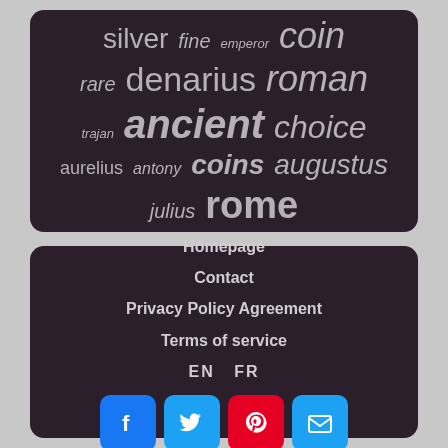[Figure (infographic): Word cloud of ancient Roman coin related keywords on dark background: silver, fine, emperor, coin, rare, denarius, roman, trajan, ancient, choice, aurelius, antony, coins, augustus, julius, rome]
Homepage
Contact
Privacy Policy Agreement
Terms of service
EN   FR
[Figure (infographic): Social media icons: Facebook, Twitter, Pinterest, Email]